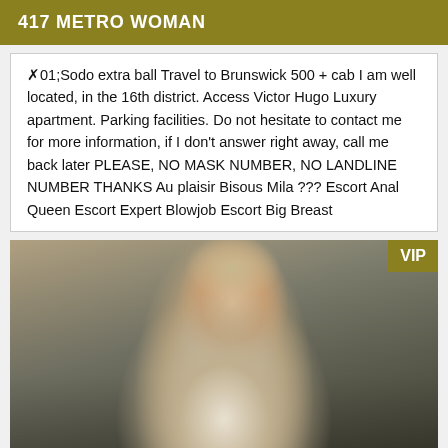417 METRO WOMAN
✗01;Sodo extra ball Travel to Brunswick 500 + cab I am well located, in the 16th district. Access Victor Hugo Luxury apartment. Parking facilities. Do not hesitate to contact me for more information, if I don't answer right away, call me back later PLEASE, NO MASK NUMBER, NO LANDLINE NUMBER THANKS Au plaisir Bisous Mila ??? Escort Anal Queen Escort Expert Blowjob Escort Big Breast
[Figure (photo): Portrait photo of a man with styled hair, wearing a white shirt and black bow tie, looking at the camera. A VIP badge appears in the top-right corner of the image.]